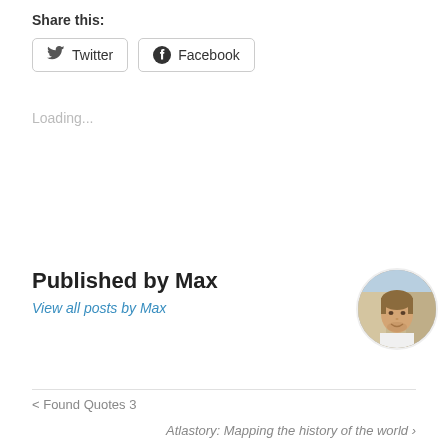Share this:
Twitter  Facebook
Loading...
Published by Max
View all posts by Max
[Figure (photo): Circular avatar photo of Max, a young man smiling outdoors]
< Found Quotes 3
Atlastory: Mapping the history of the world >